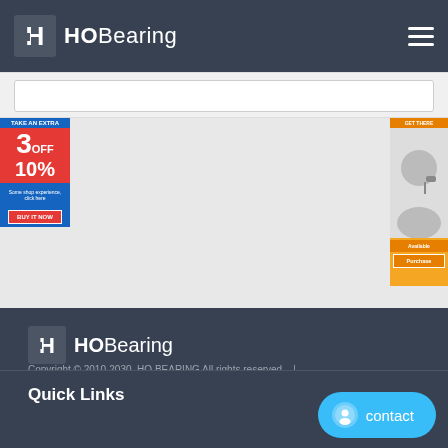HOBearing
[Figure (screenshot): Left banner ad showing '3 OFF 10%' promotional offer in red and blue]
[Figure (screenshot): Right banner ad showing a person with headset]
[Figure (logo): HOBearing logo in footer — white H icon and HOBearing text]
Copyright © 2010-2030. HO BEARING All rights reserved.  |  Bearings  |  E-mail: sale@qualitybearing.org
Quick Links